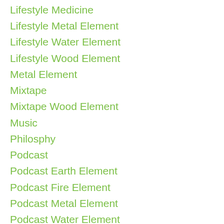Lifestyle Medicine
Lifestyle Metal Element
Lifestyle Water Element
Lifestyle Wood Element
Metal Element
Mixtape
Mixtape Wood Element
Music
Philosphy
Podcast
Podcast Earth Element
Podcast Fire Element
Podcast Metal Element
Podcast Water Element
Podcast Wood Element
Qi Gong
Qi Gong Earth Element
Qi Gong Metal Element